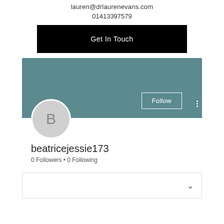lauren@drlaurenevans.com
01413397579
Get In Touch
[Figure (screenshot): Social media profile card with teal banner, circular avatar with letter B, Follow button, username beatricejessie173, 0 Followers, 0 Following, and a dropdown bar with chevron]
beatricejessie173
0 Followers • 0 Following